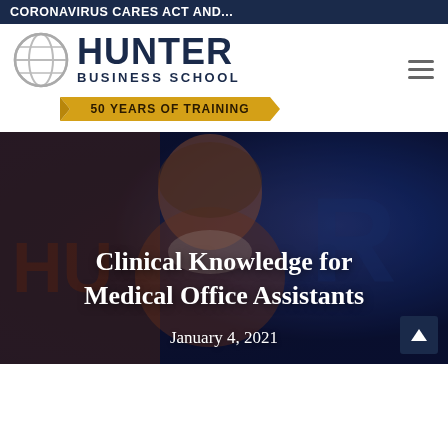CORONAVIRUS CARES ACT AND...
[Figure (logo): Hunter Business School logo with globe icon and '50 Years of Training' banner]
[Figure (photo): Healthcare worker / medical office assistant wearing a face mask, with warm orange and blue lighting in the background]
Clinical Knowledge for Medical Office Assistants
January 4, 2021